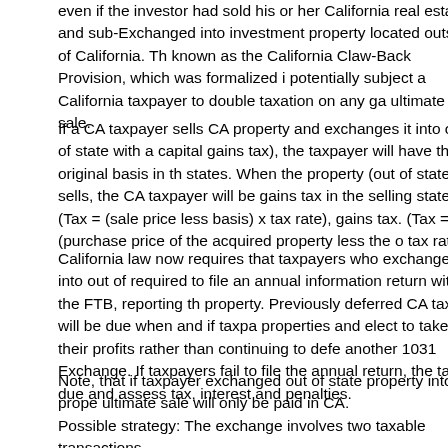even if the investor had sold his or her California real estate and sub-Exchanged into investment property located outside of California. This is known as the California Claw-Back Provision, which was formalized in potentially subject a California taxpayer to double taxation on any gain on ultimate sale.
If a CA taxpayer sells CA property and exchanges it into out of state property (a state with a capital gains tax), the taxpayer will have the original basis in the out of state property. When the property (out of state) sells, the CA taxpayer will be subject to a capital gains tax in the selling state (Tax = (sale price less basis) x tax rate), and also a CA capital gains tax. (Tax = (purchase price of the acquired property less the original basis) x CA tax rate).
California law now requires that taxpayers who exchange into out of state property are required to file an annual information return with the FTB, reporting the status of the property. Previously deferred CA taxes will be due when and if taxpayers sell their properties and elect to take their profits rather than continuing to defer the taxes through another 1031 Exchange. If taxpayers fail to file the annual return, the FTB may assess taxes due and assess tax, interest and penalties.
Note, that if taxpayer exchanged out of state property into CA property, taxes on the ultimate sale will only be paid in CA.
Possible strategy: The exchange involves two taxable transactions...